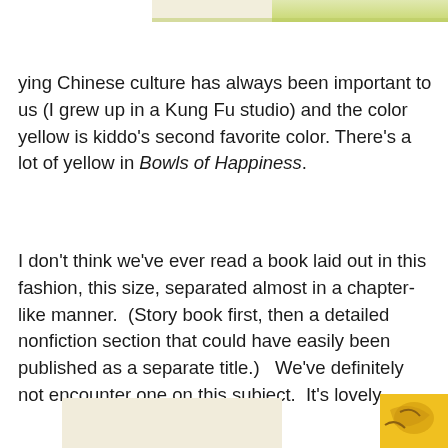[Figure (illustration): Partial illustration visible at top of page, showing colorful book cover or scene with yellows and greens]
ying Chinese culture has always been important to us (I grew up in a Kung Fu studio) and the color yellow is kiddo's second favorite color.  There's a lot of yellow in Bowls of Happiness.
I don't think we've ever read a book laid out in this fashion, this size, separated almost in a chapter-like manner.  (Story book first, then a detailed nonfiction section that could have easily been published as a separate title.)   We've definitely not encounter one on this subject.  It's lovely.
[Figure (illustration): Partial illustrations visible at bottom of page, showing book covers or pages]